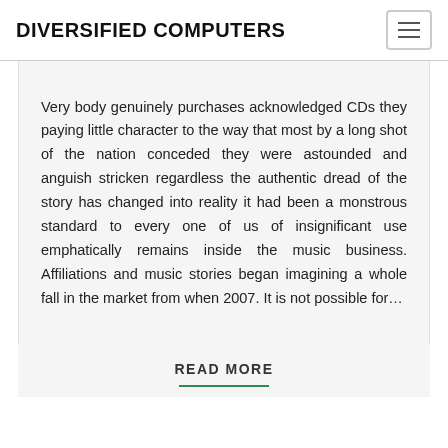DIVERSIFIED COMPUTERS
Very body genuinely purchases acknowledged CDs they paying little character to the way that most by a long shot of the nation conceded they were astounded and anguish stricken regardless the authentic dread of the story has changed into reality it had been a monstrous standard to every one of us of insignificant use emphatically remains inside the music business. Affiliations and music stories began imagining a whole fall in the market from when 2007. It is not possible for...
READ MORE